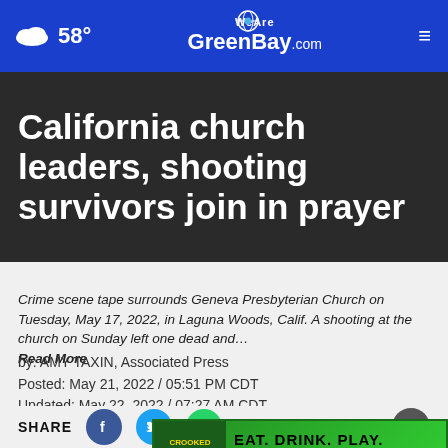58° WeAreGreenBay.com
California church leaders, shooting survivors join in prayer
Crime scene tape surrounds Geneva Presbyterian Church on Tuesday, May 17, 2022, in Laguna Woods, Calif. A shooting at the church on Sunday left one dead and… Read More
by: AMY TAXIN, Associated Press
Posted: May 21, 2022 / 05:51 PM CDT
Updated: May 22, 2022 / 07:27 AM CDT
[Figure (screenshot): Share bar with Facebook, Twitter, WhatsApp icons and close button]
[Figure (screenshot): Advertisement banner: Crooked Joker - EAT. DRINK. PLAY. REPEAT.]